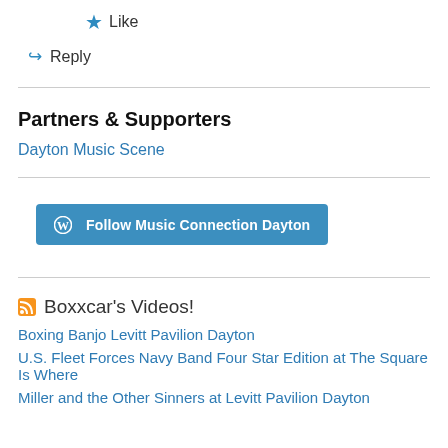★ Like
↳ Reply
Partners & Supporters
Dayton Music Scene
Follow Music Connection Dayton
Boxxcar's Videos!
Boxing Banjo Levitt Pavilion Dayton
U.S. Fleet Forces Navy Band Four Star Edition at The Square Is Where
Miller and the Other Sinners at Levitt Pavilion Dayton